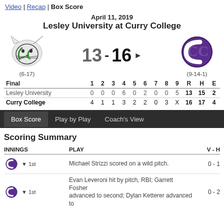Video | Recap | Box Score
April 11, 2019
Lesley University at Curry College
[Figure (other): Lesley University lynx logo (green/grey) and Curry College CC logo (purple), with score 13 - 16 and records (6-17) and (9-14-1)]
| Final | 1 | 2 | 3 | 4 | 5 | 6 | 7 | 8 | 9 | R | H | E |
| --- | --- | --- | --- | --- | --- | --- | --- | --- | --- | --- | --- | --- |
| Lesley University | 0 | 0 | 0 | 6 | 0 | 2 | 0 | 0 | 5 | 13 | 15 | 2 |
| Curry College | 4 | 1 | 1 | 3 | 2 | 2 | 0 | 3 | X | 16 | 17 | 4 |
Box Score | Play by Play | Coach's View
Scoring Summary
| INNINGS | PLAY | V - H |
| --- | --- | --- |
| ↓ 1st (Curry College) | Michael Strizzi scored on a wild pitch. | 0 - 1 |
| ↓ 1st (Curry College) | Evan Leveroni hit by pitch, RBI; Garrett Fosher advanced to second; Dylan Ketterer advanced to | 0 - 2 |